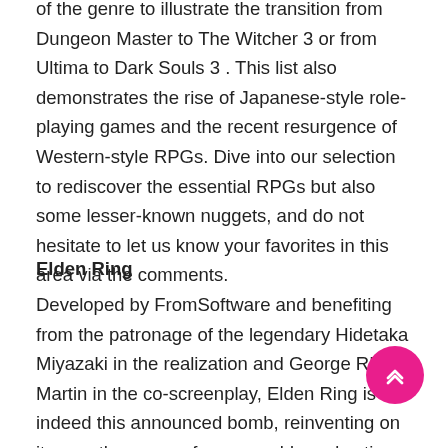of the genre to illustrate the transition from Dungeon Master to The Witcher 3 or from Ultima to Dark Souls 3 . This list also demonstrates the rise of Japanese-style role-playing games and the recent resurgence of Western-style RPGs. Dive into our selection to rediscover the essential RPGs but also some lesser-known nuggets, and do not hesitate to let us know your favorites in this area via the comments.
Elden Ring
Developed by FromSoftware and benefiting from the patronage of the legendary Hidetaka Miyazaki in the realization and George RR Martin in the co-screenplay, Elden Ring is indeed this announced bomb, reinventing on its own the genre of open-worlds and action-RPG games. With hardened dif Like the Dark Souls series he naturally inherits, he deploys a